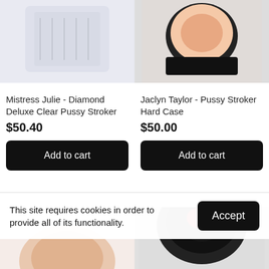[Figure (photo): Top portion of a clear plastic stroker product image, cropped at top]
[Figure (photo): Top portion of a black hard case stroker product image, cropped at top]
Mistress Julie - Diamond Deluxe Clear Pussy Stroker
$50.40
Add to cart
Jaclyn Taylor - Pussy Stroker Hard Case
$50.00
Add to cart
[Figure (photo): Bottom partial product image left side, skin-toned product cropped]
[Figure (photo): Bottom partial product image right side, black round product with red logo]
This site requires cookies in order to provide all of its functionality.
Accept